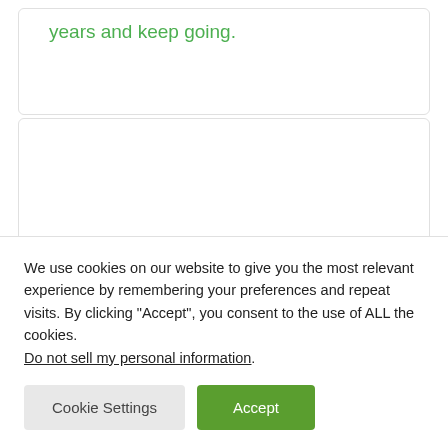years and keep going.
[Figure (photo): Blank/content card area, partially visible]
[Figure (photo): Small circular avatar icon visible at bottom of card]
We use cookies on our website to give you the most relevant experience by remembering your preferences and repeat visits. By clicking “Accept”, you consent to the use of ALL the cookies. Do not sell my personal information.
Cookie Settings
Accept